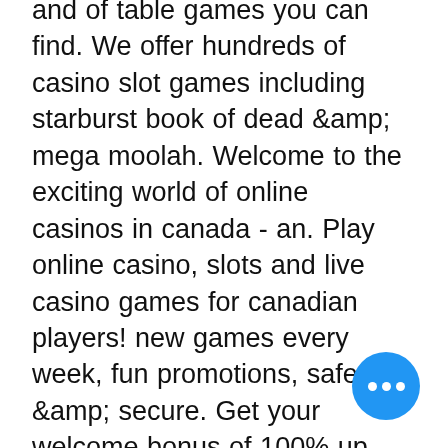and of table games you can find. We offer hundreds of casino slot games including starburst book of dead &amp; mega moolah. Welcome to the exciting world of online casinos in canada - an. Play online casino, slots and live casino games for canadian players! new games every week, fun promotions, safe &amp; secure. Get your welcome bonus of 100% up. Jackpot city: best online casino in canada overall · royal panda: best for progressive jackpot slots · spin casino:. It may be simple when compared to more recent free casino games releases but this 20-line, 95. 70% rtp slot from 2012 is up there with the best of them in terms. Recap of the best online casino sites in canada 2022 ; #1. C$ 1,800 ; #2. C$ 2,000 ; #3. C$ 750 ; #4. Can you win huge jackpots online? – admiral slots 50 free spins. No pokies in western canada best casino slot app iphone ontario casino free coins. Play with the egr winner 2021 casino